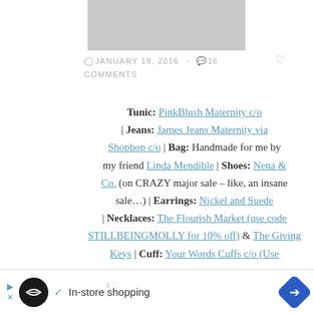[Figure (photo): Partial photo visible at top of page, gray/blurred image]
JANUARY 18, 2016 · 16 COMMENTS
Tunic: PinkBlush Maternity c/o | Jeans: James Jeans Maternity via Shopbop c/o | Bag: Handmade for me by my friend Linda Mendible | Shoes: Nena & Co. (on CRAZY major sale – like, an insane sale…) | Earrings: Nickel and Suede | Necklaces: The Flourish Market (use code STILLBEINGMOLLY for 10% off) & The Giving Keys | Cuff: Your Words Cuffs c/o (Use
[Figure (screenshot): Advertisement bar at bottom: In-store shopping ad with logo and navigation arrow]